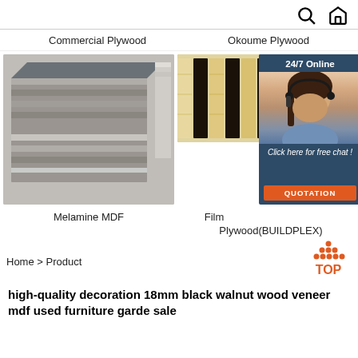search and home icons
Commercial Plywood   Okoume Plywood
[Figure (photo): Stack of plywood sheets showing layered edges, grey surface, in a warehouse]
[Figure (photo): Film faced plywood sheets stacked on edge showing dark face and wood layers]
[Figure (infographic): 24/7 Online customer service chat box with woman wearing headset, Click here for free chat!, QUOTATION button]
Melamine MDF
Film Plywood(BUILDPLEX)
Home > Product
high-quality decoration 18mm black walnut wood veneer mdf used furniture garde sale